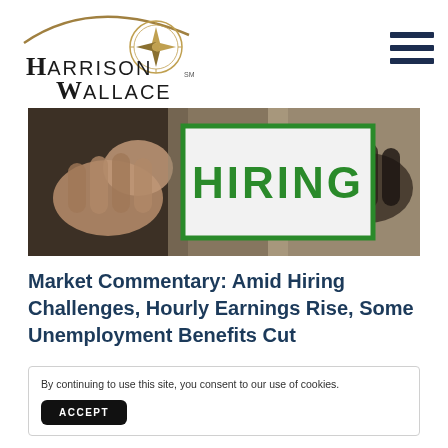Harrison Wallace
[Figure (photo): Hands holding a green-bordered white sign that reads HIRING in large green letters, with blurred background]
Market Commentary: Amid Hiring Challenges, Hourly Earnings Rise, Some Unemployment Benefits Cut
By continuing to use this site, you consent to our use of cookies.